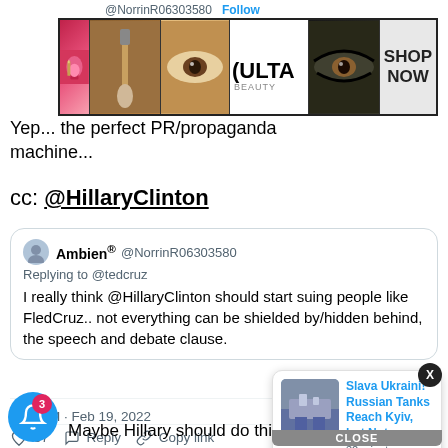@NorrinR06303580  Follow
[Figure (screenshot): ULTA beauty advertisement banner with makeup images and SHOP NOW button]
Yep... machine...
cc: @HillaryClinton
Ambien® @NorrinR06303580
Replying to @tedcruz
I really think @HillaryClinton should start suing people like FledCruz.. not everything can be shielded by/hidden behind, the speech and debate clause.
6:17 PM · Feb 19, 2022
♡ 57  Reply  Copy link
[Figure (screenshot): News notification popup: Slava Ukraini! Russian Tanks Reach Kyiv, but Not — 32 minutes ago]
Maybe Hillary should do this. Seriously.